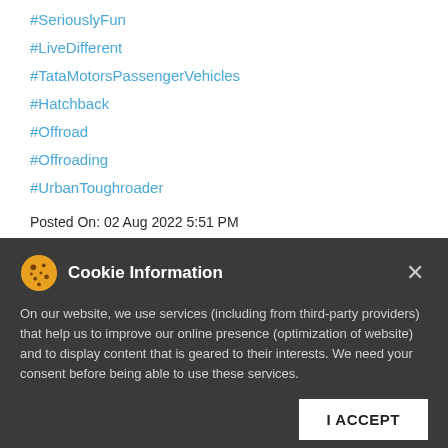#SeriouslyFun
#LiveDifferent
#TataMotorsPassengerVehicles
#Hatchback
#Offroad
#Offroading
#UrbanToughroader
Posted On: 02 Aug 2022 5:51 PM
Cookie Information
On our website, we use services (including from third-party providers) that help us to improve our online presence (optimization of website) and to display content that is geared to their interests. We need your consent before being able to use these services.